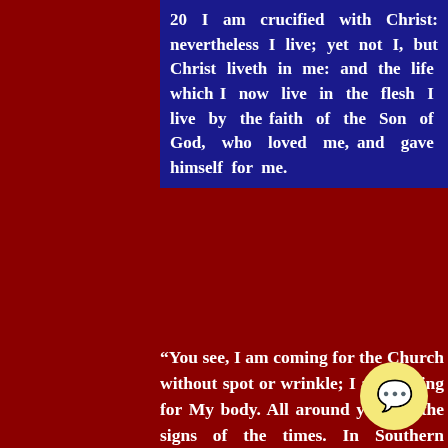20 I am crucified with Christ: nevertheless I live; yet not I, but Christ liveth in me: and the life which I now live in the flesh I live by the faith of the Son of God, who loved me, and gave himself for me.
“You see, I am coming for the Church without spot or wrinkle; I am coming for My body. All around you are the signs of the times. In Southern England, the farmland has become as the desert. Wildfires gather around built-up areas, not only in England but around Europe. For the angel of death is over the land. The nation of Britain is in unsustainable deb... angel of death offering a Great Reset,